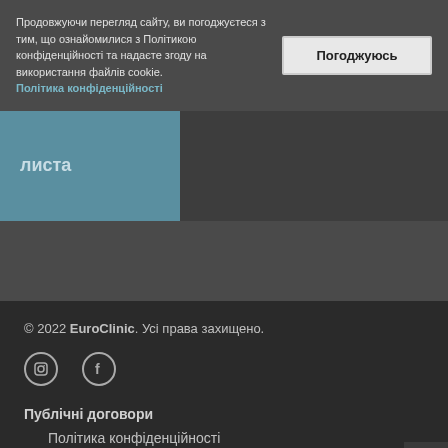Продовжуючи перегляд сайту, ви погоджуєтеся з тим, що ознайомилися з Політикою конфіденційності та надаєте згоду на використання файлів cookie. Політика конфіденційності
Погоджуюсь
листа
© 2022 EuroClinic. Усі права захищено.
Публічні договори
Політика конфіденційності
Правила надання Медичних послуг